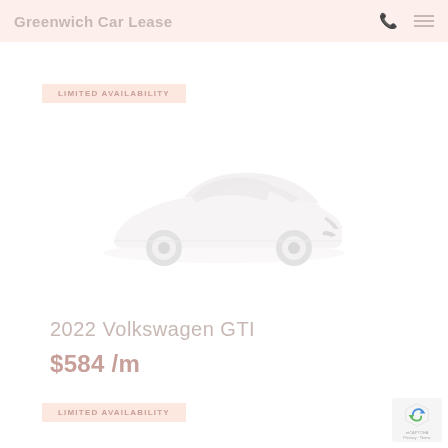Greenwich Car Lease
LIMITED AVAILABILITY
[Figure (photo): White 2022 Volkswagen GTI hatchback car on white background]
2022 Volkswagen GTI
$584 /m
LIMITED AVAILABILITY